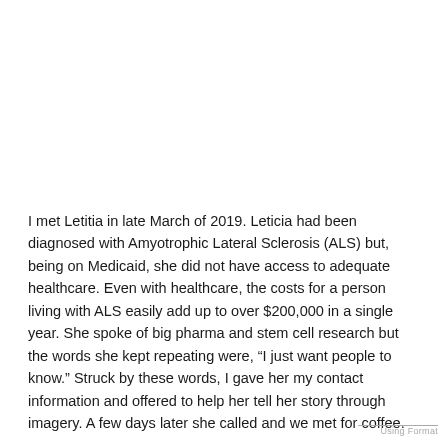I met Letitia in late March of 2019. Leticia had been diagnosed with Amyotrophic Lateral Sclerosis (ALS) but, being on Medicaid, she did not have access to adequate healthcare. Even with healthcare, the costs for a person living with ALS easily add up to over $200,000 in a single year. She spoke of big pharma and stem cell research but the words she kept repeating were, “I just want people to know.” Struck by these words, I gave her my contact information and offered to help her tell her story through imagery. A few days later she called and we met for coffee.
I discovered that her story wrought with complications. Like many, her ALS went undiagnosed for months, possibly years. There is a test to diagnose ALS. But the it is a process of
Using Format